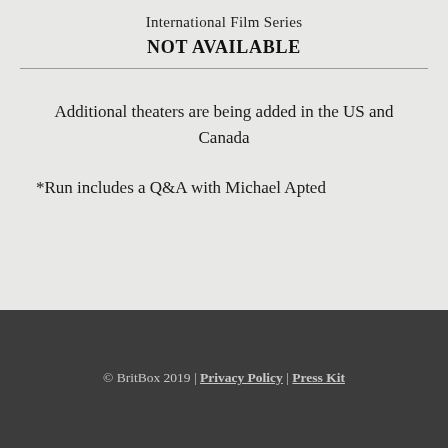International Film Series
NOT AVAILABLE
Additional theaters are being added in the US and Canada
*Run includes a Q&A with Michael Apted
© BritBox 2019 | Privacy Policy | Press Kit